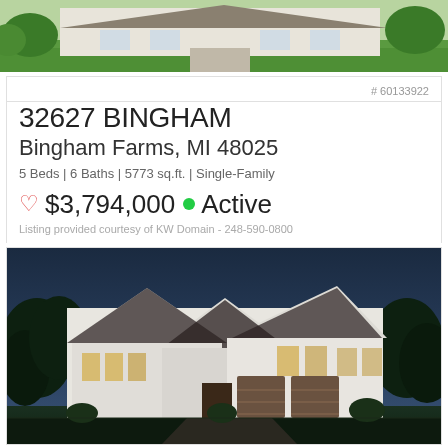[Figure (photo): Aerial or elevated view of house exterior with green lawn and landscaping, daytime]
# 60133922
32627 BINGHAM
Bingham Farms, MI 48025
5 Beds | 6 Baths | 5773 sq.ft. | Single-Family
♡ $3,794,000 ● Active
Listing provided courtesy of KW Domain - 248-590-0800
[Figure (photo): Exterior rendering of large white modern farmhouse at dusk/evening, two-story with dark roof, garage, lighted windows, trees in background]